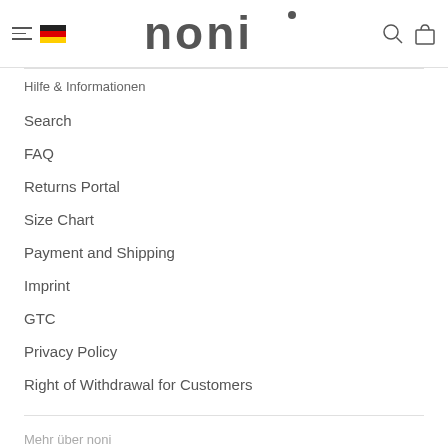[Figure (logo): noni brand logo with hamburger menu, German flag, search icon, and shopping bag icon in header]
Hilfe & Informationen
Search
FAQ
Returns Portal
Size Chart
Payment and Shipping
Imprint
GTC
Privacy Policy
Right of Withdrawal for Customers
Mehr über noni